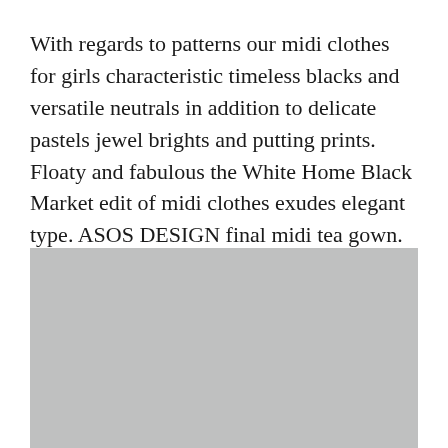With regards to patterns our midi clothes for girls characteristic timeless blacks and versatile neutrals in addition to delicate pastels jewel brights and putting prints. Floaty and fabulous the White Home Black Market edit of midi clothes exudes elegant type. ASOS DESIGN final midi tea gown.
[Figure (photo): A grey placeholder image rectangle.]